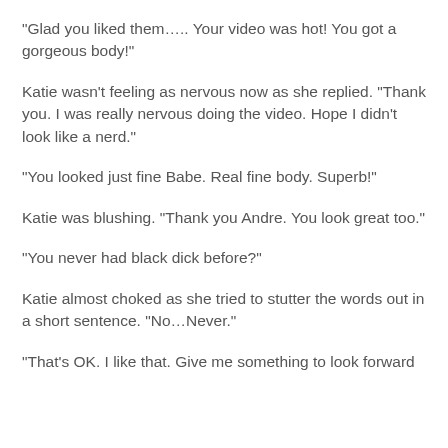“Glad you liked them….. Your video was hot! You got a gorgeous body!”
Katie wasn’t feeling as nervous now as she replied. “Thank you. I was really nervous doing the video. Hope I didn’t look like a nerd.”
“You looked just fine Babe. Real fine body. Superb!”
Katie was blushing. “Thank you Andre. You look great too.”
“You never had black dick before?”
Katie almost choked as she tried to stutter the words out in a short sentence. “No…Never.”
“That’s OK. I like that. Give me something to look forward